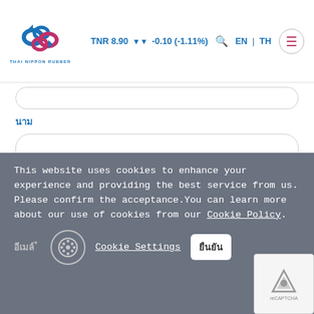TNR 8.90 ▼ -0.10 (-1.11%) EN | TH
[Figure (logo): Thai Nippon Rubber logo with interlocking shapes and company name]
นาม
ชื่อ
This website uses cookies to enhance your experience and providing the best service from us. Please confirm the acceptance.You can learn more about our use of cookies from our Cookie Policy.
อีเมล์*
Cookie Settings
ยืนยัน